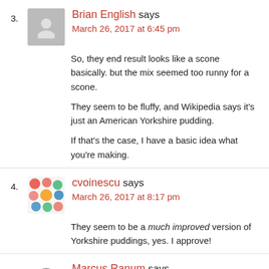3. Brian English says
March 26, 2017 at 6:45 pm
So, they end result looks like a scone basically. but the mix seemed too runny for a scone.
They seem to be fluffy, and Wikipedia says it's just an American Yorkshire pudding.
If that's the case, I have a basic idea what you're making.
4. cvoinescu says
March 26, 2017 at 8:17 pm
They seem to be a much improved version of Yorkshire puddings, yes. I approve!
5. Marcus Ranum says
March 26, 2017 at 8:53 pm